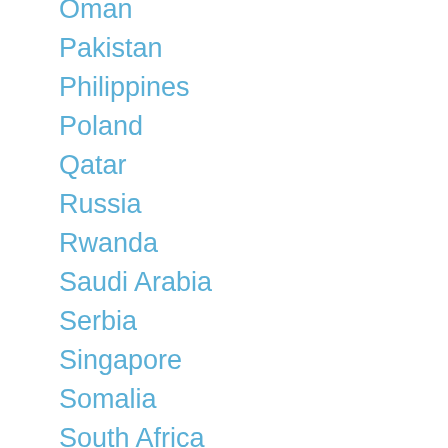Oman
Pakistan
Philippines
Poland
Qatar
Russia
Rwanda
Saudi Arabia
Serbia
Singapore
Somalia
South Africa
Sri Lanka
Swaziland
Sweden
Tanzania